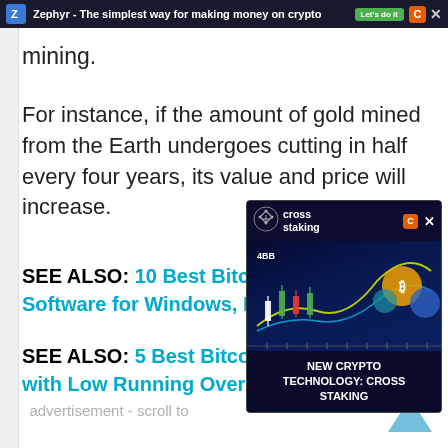[Figure (screenshot): Top browser banner advertisement for Zephyr crypto platform with green Let's do it button and close X]
mining.
For instance, if the amount of gold mined from the Earth undergoes cutting in half every four years, its value and price will increase.
SEE ALSO: 10 Best Bitcoin Mining Software for Windows, Mac and Linux.
SEE ALSO: 5 Best Bitcoin Mining Software with Low Running Overhead.
advertisement - scroll to
[Figure (screenshot): Popup advertisement for Cross Staking crypto platform showing NEW CRYPTO TECHNOLOGY: CROSS STAKING with coin graphics and candlestick chart graphics on dark blue background]